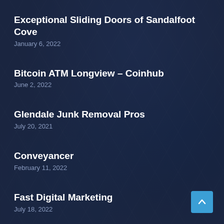Exceptional Sliding Doors of Sandalfoot Cove
January 6, 2022
Bitcoin ATM Longview – Coinhub
June 2, 2022
Glendale Junk Removal Pros
July 20, 2021
Conveyancer
February 11, 2022
Fast Digital Marketing
July 18, 2022